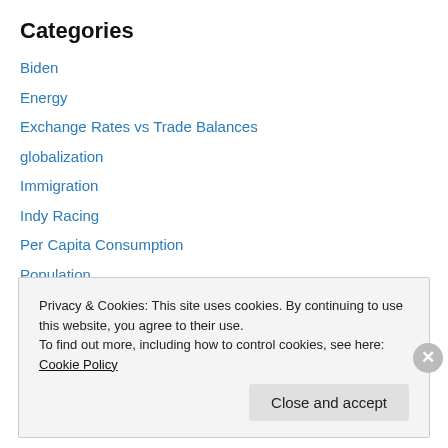Categories
Biden
Energy
Exchange Rates vs Trade Balances
globalization
Immigration
Indy Racing
Per Capita Consumption
Population
Purchasing Power vs. Trade Balances
The Theory Explained
Trade
Privacy & Cookies: This site uses cookies. By continuing to use this website, you agree to their use. To find out more, including how to control cookies, see here: Cookie Policy
Close and accept